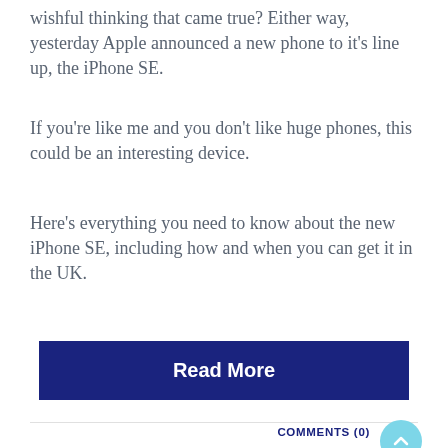wishful thinking that came true? Either way, yesterday Apple announced a new phone to it's line up, the iPhone SE.
If you're like me and you don't like huge phones, this could be an interesting device.
Here's everything you need to know about the new iPhone SE, including how and when you can get it in the UK.
Read More
COMMENTS (0)
Is An IPhone 6 Still Good In 2020?